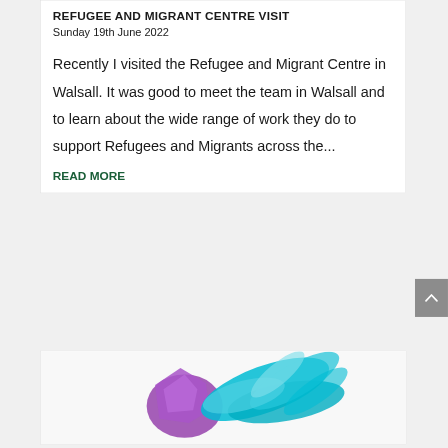REFUGEE AND MIGRANT CENTRE VISIT
Sunday 19th June 2022
Recently I visited the Refugee and Migrant Centre in Walsall. It was good to meet the team in Walsall and to learn about the wide range of work they do to support Refugees and Migrants across the...
READ MORE
[Figure (photo): A colourful object with purple and teal/turquoise feathers on a white background]